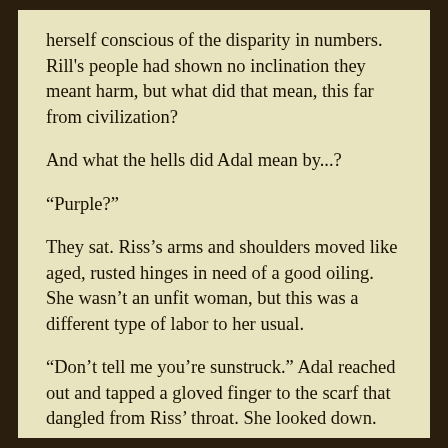herself conscious of the disparity in numbers. Rill's people had shown no inclination they meant harm, but what did that mean, this far from civilization?
And what the hells did Adal mean by...?
“Purple?”
They sat. Riss’s arms and shoulders moved like aged, rusted hinges in need of a good oiling. She wasn’t an unfit woman, but this was a different type of labor to her usual.
“Don’t tell me you’re sunstruck.” Adal reached out and tapped a gloved finger to the scarf that dangled from Riss’ throat. She looked down.
Oh. The scarf she wore was purple. In the overbearing stinkiness of the moment, she had not